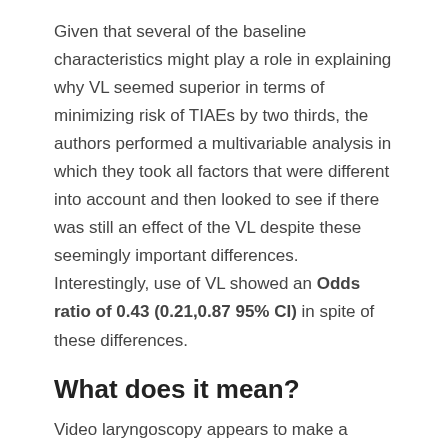Given that several of the baseline characteristics might play a role in explaining why VL seemed superior in terms of minimizing risk of TIAEs by two thirds, the authors performed a multivariable analysis in which they took all factors that were different into account and then looked to see if there was still an effect of the VL despite these seemingly important differences.  Interestingly, use of VL showed an Odds ratio of 0.43 (0.21,0.87 95% CI) in spite of these differences.
What does it mean?
Video laryngoscopy appears to make a difference to reducing the risk on TIAEs as an independent factor. The most common TIAE was esophageal intubation at 10% and reducing that is a good thing as it leads